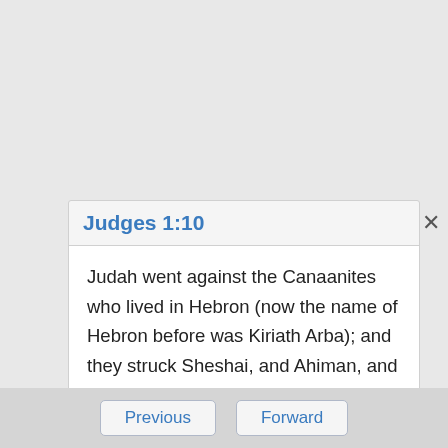Judges 1:10
Judah went against the Canaanites who lived in Hebron (now the name of Hebron before was Kiriath Arba); and they struck Sheshai, and Ahiman, and Talmai.
Judges 1:17
Judah went with Simeon his brother, and they struck the Canaanites who inhabited Zephath, and utterly destroyed it. The name of the city was
Previous   Forward